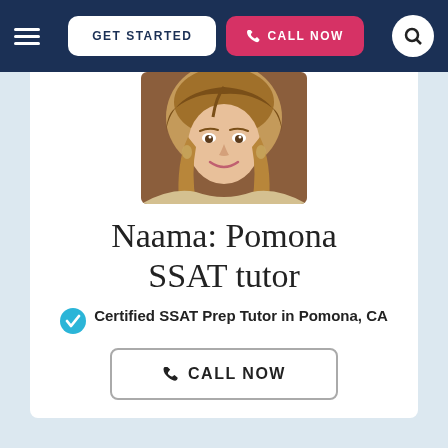GET STARTED | CALL NOW
[Figure (photo): Profile photo of Naama, a woman with long blonde-brown hair smiling at the camera]
Naama: Pomona SSAT tutor
Certified SSAT Prep Tutor in Pomona, CA
CALL NOW